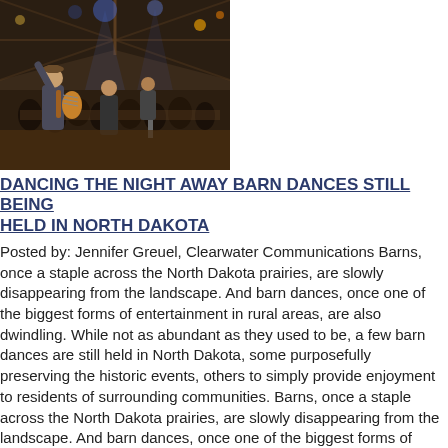[Figure (photo): Indoor barn scene with musician playing guitar on stage, crowd in background, wooden rafters and dim lighting visible]
DANCING THE NIGHT AWAY BARN DANCES STILL BEING HELD IN NORTH DAKOTA
Posted by: Jennifer Greuel, Clearwater Communications Barns, once a staple across the North Dakota prairies, are slowly disappearing from the landscape. And barn dances, once one of the biggest forms of entertainment in rural areas, are also dwindling. While not as abundant as they used to be, a few barn dances are still held in North Dakota, some purposefully preserving the historic events, others to simply provide enjoyment to residents of surrounding communities. Barns, once a staple across the North Dakota prairies, are slowly disappearing from the landscape. And barn dances, once one of the biggest forms of entertainment in rural areas, are also dwindling. While not as abundant as they used to be, a few barn dances are still held in North Dakota, some purposefully preserving the historic events, others to simply provide enjoyment to residents of surrounding communities.